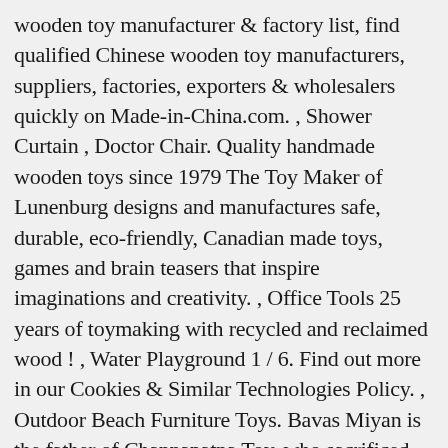wooden toy manufacturer & factory list, find qualified Chinese wooden toy manufacturers, suppliers, factories, exporters & wholesalers quickly on Made-in-China.com. , Shower Curtain , Doctor Chair. Quality handmade wooden toys since 1979 The Toy Maker of Lunenburg designs and manufactures safe, durable, eco-friendly, Canadian made toys, games and brain teasers that inspire imaginations and creativity. , Office Tools 25 years of toymaking with recycled and reclaimed wood ! , Water Playground 1 / 6. Find out more in our Cookies & Similar Technologies Policy. , Outdoor Beach Furniture Toys. Bavas Miyan is the father of Channapatna Toy, who sacrificed his life for channapatana toys. Do you have an excellent workbench not i... , Kids Balance Bike, Manufacturer/Factory VIEW IN GALLERY. I have always enjoyed working with wood, and my partiality grew when Budster was born. There are 571 wooden toy maker for